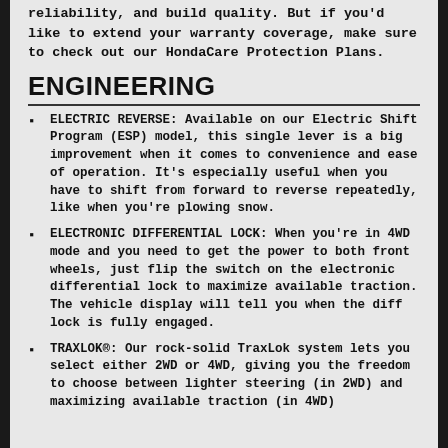reliability, and build quality. But if you'd like to extend your warranty coverage, make sure to check out our HondaCare Protection Plans.
ENGINEERING
ELECTRIC REVERSE: Available on our Electric Shift Program (ESP) model, this single lever is a big improvement when it comes to convenience and ease of operation. It’s especially useful when you have to shift from forward to reverse repeatedly, like when you’re plowing snow.
ELECTRONIC DIFFERENTIAL LOCK: When you’re in 4WD mode and you need to get the power to both front wheels, just flip the switch on the electronic differential lock to maximize available traction. The vehicle display will tell you when the diff lock is fully engaged.
TRAXLOK®: Our rock-solid TraxLok system lets you select either 2WD or 4WD, giving you the freedom to choose between lighter steering (in 2WD) and maximizing available traction (in 4WD)